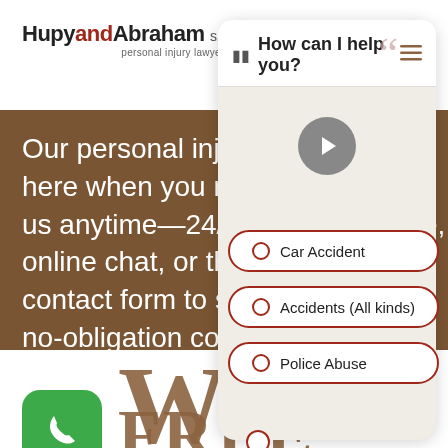HupyandAbraham s.c. personal injury lawyers
Our personal injury law firm is here when you need us. Contact us anytime—24/7/365—by phone, online chat, or through our online contact form to schedule a free, no-obligation consultation today.
[Figure (screenshot): Chatbot overlay panel with title 'How can I help you?' and three radio button options: Car Accident, Accidents (All kinds), Police Abuse. Also shows a play button icon and a quote mark graphic.]
Car Accident
Accidents (All kinds)
Police Abuse